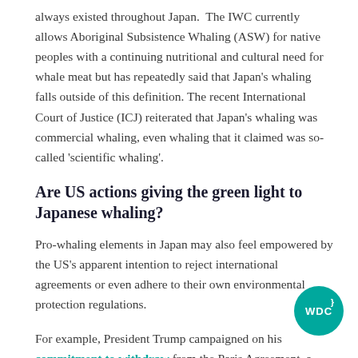always existed throughout Japan. The IWC currently allows Aboriginal Subsistence Whaling (ASW) for native peoples with a continuing nutritional and cultural need for whale meat but has repeatedly said that Japan's whaling falls outside of this definition. The recent International Court of Justice (ICJ) reiterated that Japan's whaling was commercial whaling, even whaling that it claimed was so-called 'scientific whaling'.
Are US actions giving the green light to Japanese whaling?
Pro-whaling elements in Japan may also feel empowered by the US's apparent intention to reject international agreements or even adhere to their own environmental protection regulations.
For example, President Trump campaigned on his commitment to withdraw from the Paris Agreement, a
[Figure (logo): WDC circular teal badge/logo with 'WDC' text in white]